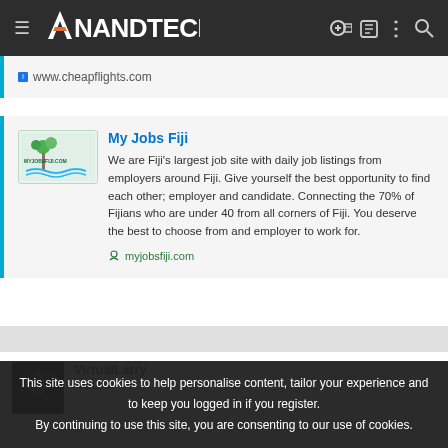AnandTech
www.cheapflights.com
My Jobs Fiji
We are Fiji's largest job site with daily job listings from employers around Fiji. Give yourself the best opportunity to find each other; employer and candidate. Connecting the 70% of Fijians who are under 40 from all corners of Fiji. You deserve the best to choose from and employer to work for.
myjobsfiji.com
VirtualLarry
No Lifer
This site uses cookies to help personalise content, tailor your experience and to keep you logged in if you register.
By continuing to use this site, you are consenting to our use of cookies.